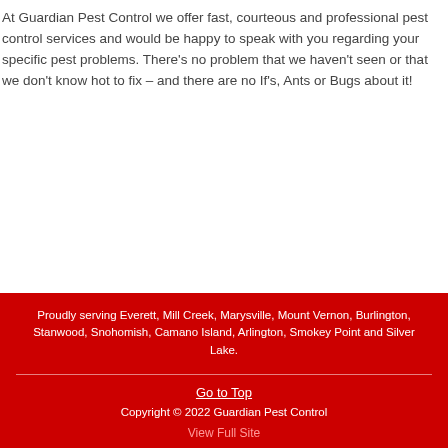At Guardian Pest Control we offer fast, courteous and professional pest control services and would be happy to speak with you regarding your specific pest problems. There's no problem that we haven't seen or that we don't know hot to fix – and there are no If's, Ants or Bugs about it!
Proudly serving Everett, Mill Creek, Marysville, Mount Vernon, Burlington, Stanwood, Snohomish, Camano Island, Arlington, Smokey Point and Silver Lake.

Go to Top

Copyright © 2022 Guardian Pest Control

View Full Site